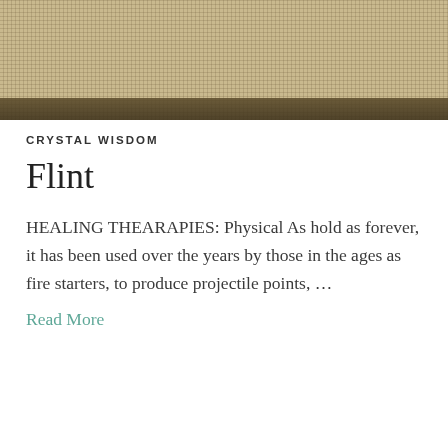[Figure (photo): Close-up photograph of burlap or woven fabric texture with a dark strip at the bottom]
CRYSTAL WISDOM
Flint
HEALING THEARAPIES: Physical As hold as forever, it has been used over the years by those in the ages as fire starters, to produce projectile points, …
Read More